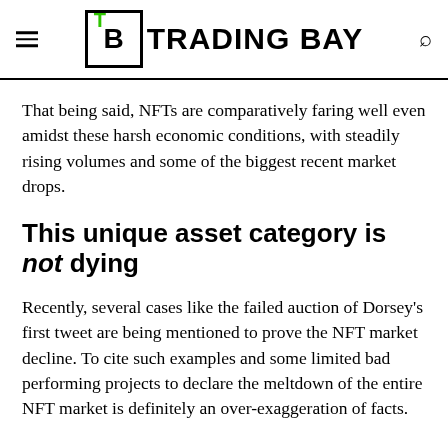TRADING BAY
That being said, NFTs are comparatively faring well even amidst these harsh economic conditions, with steadily rising volumes and some of the biggest recent market drops.
This unique asset category is not dying
Recently, several cases like the failed auction of Dorsey's first tweet are being mentioned to prove the NFT market decline. To cite such examples and some limited bad performing projects to declare the meltdown of the entire NFT market is definitely an over-exaggeration of facts.